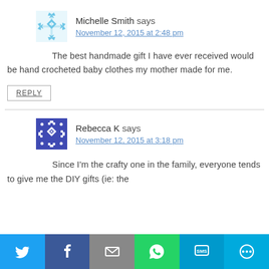[Figure (illustration): Light blue decorative avatar icon for Michelle Smith]
Michelle Smith says
November 12, 2015 at 2:48 pm
The best handmade gift I have ever received would be hand crocheted baby clothes my mother made for me.
REPLY
[Figure (illustration): Dark blue decorative avatar icon for Rebecca K]
Rebecca K says
November 12, 2015 at 3:18 pm
Since I'm the crafty one in the family, everyone tends to give me the DIY gifts (ie: the
[Figure (infographic): Social sharing bar with Twitter, Facebook, Email, WhatsApp, SMS, and More buttons]